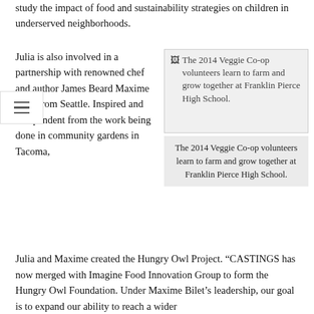study the impact of food and sustainability strategies on children in underserved neighborhoods.
Julia is also involved in a partnership with renowned chef and author James Beard Maxime Bilet from Seattle. Inspired and independent from the work being done in community gardens in Tacoma, Julia and Maxime created the Hungry Owl Project. “CASTINGS has now merged with Imagine Food Innovation Group to form the Hungry Owl Foundation. Under Maxime Bilet’s leadership, our goal is to expand our ability to reach a wider
[Figure (photo): The 2014 Veggie Co-op volunteers learn to farm and grow together at Franklin Pierce High School.]
The 2014 Veggie Co-op volunteers learn to farm and grow together at Franklin Pierce High School.